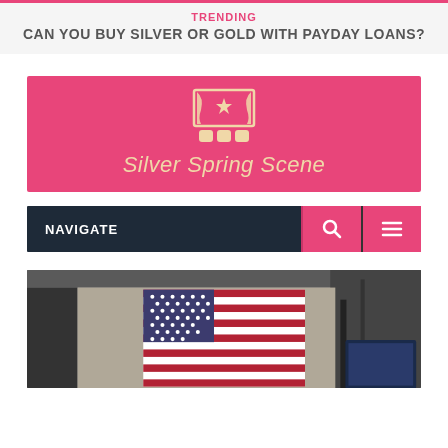TRENDING
CAN YOU BUY SILVER OR GOLD WITH PAYDAY LOANS?
[Figure (logo): Silver Spring Scene logo on pink/magenta background with theater curtain and seats icon]
Silver Spring Scene
NAVIGATE
[Figure (photo): Photo of an American flag displayed in what appears to be a financial exchange or public building, with dark structural elements visible]